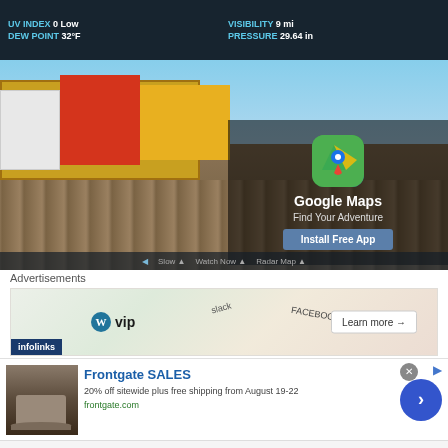[Figure (screenshot): Weather app screenshot showing a boardwalk scene with Google Maps advertisement overlay. Weather data shown: UV INDEX 0 Low, DEW POINT 32°F, VISIBILITY 9 mi, PRESSURE 29.64 in. Google Maps 'Find Your Adventure' ad with 'Install Free App' button.]
Advertisements
[Figure (screenshot): WordPress VIP advertisement banner with Infolinks branding, showing logos for WordPress VIP, slack, Facebook, and a 'Learn more →' button.]
[Figure (screenshot): Frontgate SALES advertisement: '20% off sitewide plus free shipping from August 19-22' with frontgate.com URL, showing outdoor furniture photo and blue circular arrow button. Close button (x) visible.]